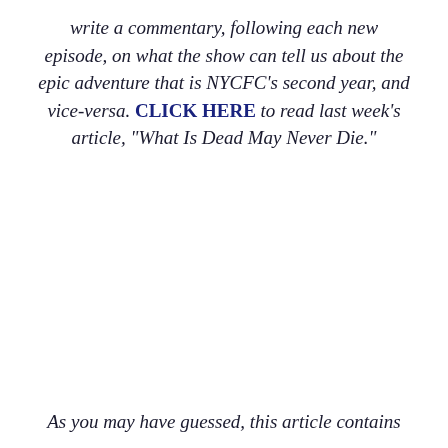write a commentary, following each new episode, on what the show can tell us about the epic adventure that is NYCFC's second year, and vice-versa. CLICK HERE to read last week's article, "What Is Dead May Never Die."
As you may have guessed, this article contains